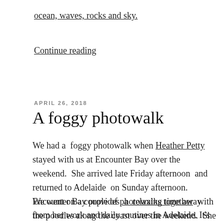ocean, waves, rocks and sky.
Continue reading
APRIL 26, 2018
A foggy photowalk
We had a foggy photowalk when Heather Petty stayed with us at Encounter Bay over the weekend. She arrived late Friday afternoon and returned to Adelaide on Sunday afternoon. Encounter Bay provides a relaxing time away from her work and daily routines in Adelaide. It's time out so, to speak.
We went on a couple of photowalks together with the poodles along the coast over the weekend. She joined us on the Friday afternoon, as we slowly made our way along the coastline...